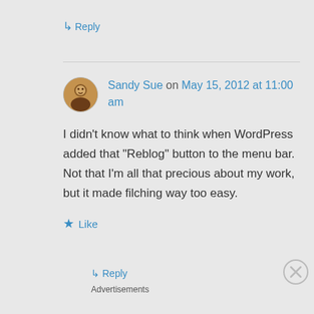↳ Reply
Sandy Sue on May 15, 2012 at 11:00 am
I didn't know what to think when WordPress added that “Reblog” button to the menu bar. Not that I’m all that precious about my work, but it made filching way too easy.
★ Like
↳ Reply
Advertisements